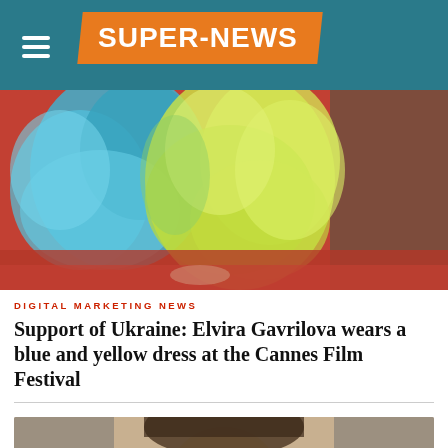SUPER-NEWS
[Figure (photo): Blurred photo of a person wearing a blue and yellow fluffy/tulle dress on a red carpet at Cannes Film Festival]
DIGITAL MARKETING NEWS
Support of Ukraine: Elvira Gavrilova wears a blue and yellow dress at the Cannes Film Festival
[Figure (photo): Partial photo of a person's face, partially visible at the bottom of the page]